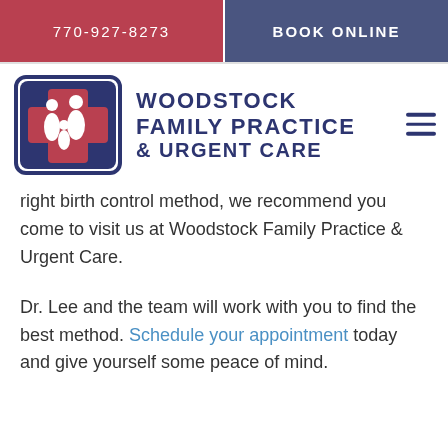770-927-8273   BOOK ONLINE
[Figure (logo): Woodstock Family Practice & Urgent Care logo: a blue square with rounded corners containing a red cross and white silhouettes of a family (adults and child), bordered with a blue frame.]
WOODSTOCK FAMILY PRACTICE & URGENT CARE
right birth control method, we recommend you come to visit us at Woodstock Family Practice & Urgent Care.
Dr. Lee and the team will work with you to find the best method. Schedule your appointment today and give yourself some peace of mind.